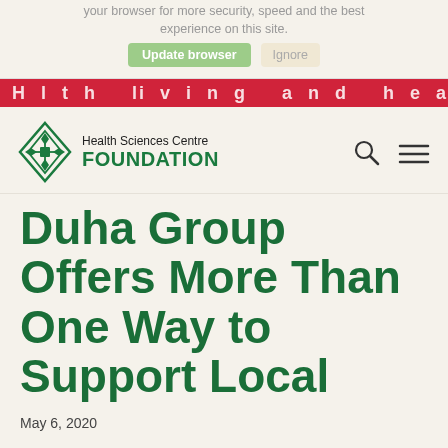your browser for more security, speed and the best experience on this site.
[Figure (screenshot): Update browser and Ignore buttons in a browser update notification banner]
[Figure (logo): Health Sciences Centre Foundation logo with green diamond emblem, search icon and hamburger menu icon]
Duha Group Offers More Than One Way to Support Local
May 6, 2020